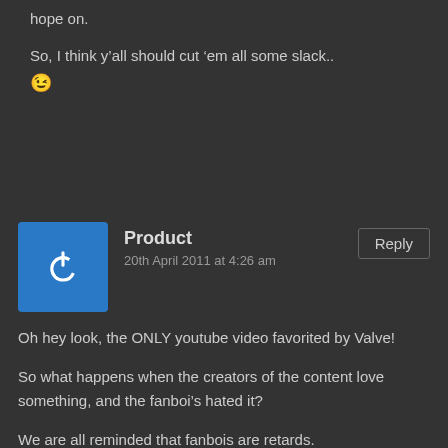hope on.
So, I think y’all should cut ‘em all some slack.. 😉
Product
20th April 2011 at 4:26 am
Oh hey look, the ONLY youtube video favorited by Valve!
So what happens when the creators of the content love something, and the fanboi’s hated it?
We are all reminded that fanbois are retards.
BTW, way to man up and ask the guys all